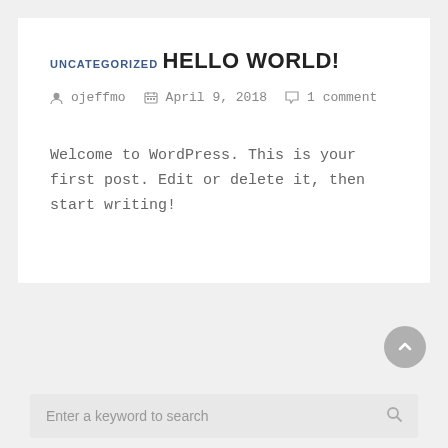UNCATEGORIZED
HELLO WORLD!
ojeffmo   April 9, 2018   1 comment
Welcome to WordPress. This is your first post. Edit or delete it, then start writing!
Enter a keyword to search